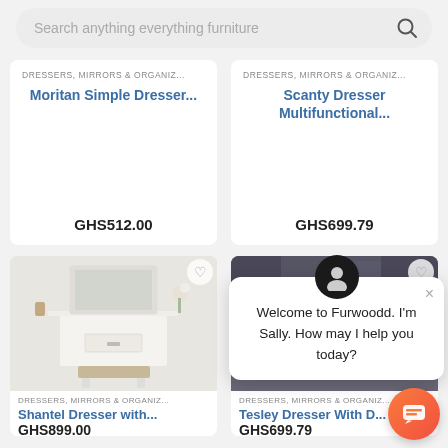[Figure (screenshot): Search bar with placeholder text 'Search anything everything furniture' and a search icon]
DRESSERS, MIRRORS & ORGANIZ...
Moritan Simple Dresser...
GHS512.00
DRESSERS, MIRRORS & ORGANIZ...
Scanty Dresser Multifunctional...
GHS699.79
[Figure (photo): White vanity dresser with mirror and stool in a bright white room]
DRESSERS, MIRRORS & ORGANIZ...
Shantel Dresser with...
GHS899.00
[Figure (photo): Dark grey/navy dresser with open compartment drawer in a bedroom setting]
DRESSERS, MIRRORS & ORGANIZ...
Tesley Dresser With D...
GHS699.79
Welcome to Furwoodd. I'm Sally. How may I help you today?